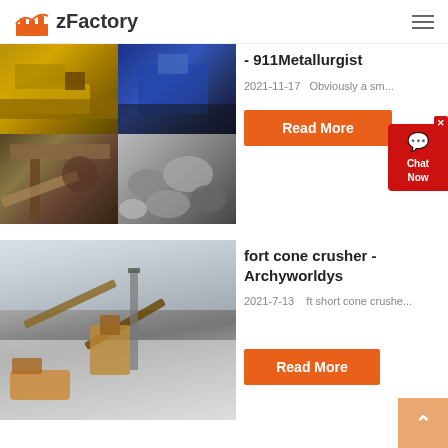zFactory
[Figure (photo): Grid of four images showing heavy mining/quarry equipment: yellow bulldozer, blue machine, ore crusher, and rocks]
- 911Metallurgist
2021-11-17   Obviously a sm...
Read More
[Figure (photo): Industrial quarry or crushing plant with conveyors and heavy machinery in a dusty/misty environment]
fort cone crusher - Archyworldys
2021-7-13    ft short cone crushe...
Read More